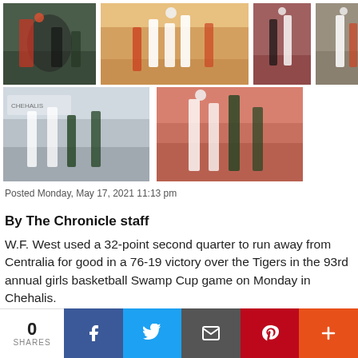[Figure (photo): Six basketball game photos showing women's basketball action shots from W.F. West vs Centralia game]
Posted Monday, May 17, 2021 11:13 pm
By The Chronicle staff
W.F. West used a 32-point second quarter to run away from Centralia for good in a 76-19 victory over the Tigers in the 93rd annual girls basketball Swamp Cup game on Monday in Chehalis.
Centralia hung with W.F. West for the first quarter, trailing 14-6 after one frame, as the Bearcats forced too many shots and turned the ball over, W.F. West coach Kyle Karnofski
[Figure (infographic): Social share bar with share count 0, Facebook, Twitter, Email, Pinterest, and More buttons]